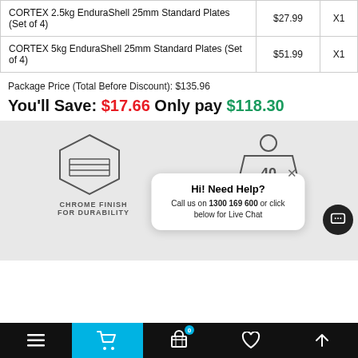| Product | Price | Qty |
| --- | --- | --- |
| CORTEX 2.5kg EnduraShell 25mm Standard Plates (Set of 4) | $27.99 | X1 |
| CORTEX 5kg EnduraShell 25mm Standard Plates (Set of 4) | $51.99 | X1 |
Package Price (Total Before Discount): $135.96
You'll Save: $17.66 Only pay $118.30
[Figure (illustration): Grey section with hexagon/layers icon on left and weight/dumbbell icon on right, with text CHROME FINISH FOR DURABILITY partially visible]
Hi! Need Help? Call us on 1300 169 600 or click below for Live Chat
Bottom navigation bar with menu, cart, basket (0), heart, and up arrow icons